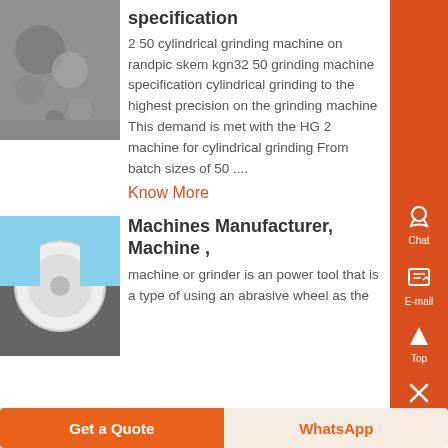specification
2 50 cylindrical grinding machine on randpic skem kgn32 50 grinding machine specification cylindrical grinding to the highest precision on the grinding machine This demand is met with the HG 2 machine for cylindrical grinding From batch sizes of 50 ....
Know More
[Figure (photo): Gray crushed stone or gravel close-up photo]
Machines Manufacturer, Machine ,
machine or grinder is an power tool that is a type of using an abrasive wheel as the
[Figure (photo): Industrial grinding machine with round wheel, blue sky background]